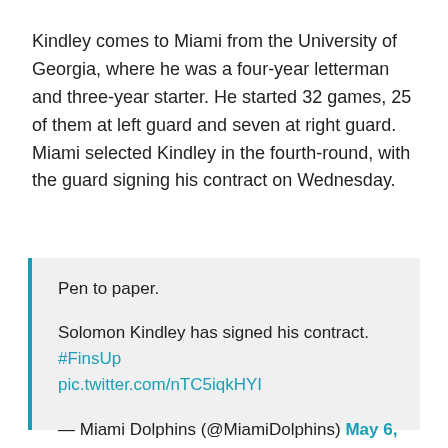Kindley comes to Miami from the University of Georgia, where he was a four-year letterman and three-year starter. He started 32 games, 25 of them at left guard and seven at right guard. Miami selected Kindley in the fourth-round, with the guard signing his contract on Wednesday.
Pen to paper.

Solomon Kindley has signed his contract. #FinsUp pic.twitter.com/nTC5iqkHYI

— Miami Dolphins (@MiamiDolphins) May 6, 2020